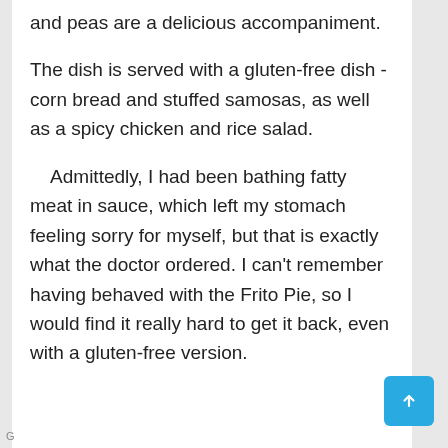and peas are a delicious accompaniment.

The dish is served with a gluten-free dish - corn bread and stuffed samosas, as well as a spicy chicken and rice salad.

    Admittedly, I had been bathing fatty meat in sauce, which left my stomach feeling sorry for myself, but that is exactly what the doctor ordered. I can't remember having behaved with the Frito Pie, so I would find it really hard to get it back, even with a gluten-free version.